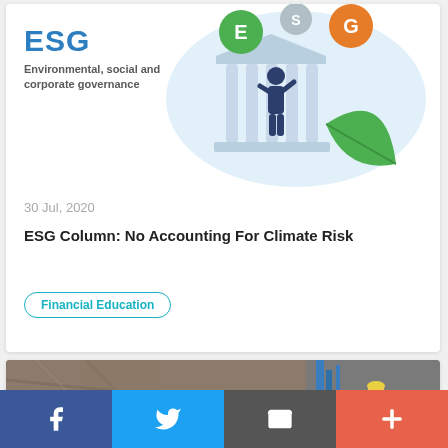[Figure (illustration): ESG illustration showing Environmental, Social, and Governance icons with a businessman standing in front of a building, green leaf, and colored circles labeled E and G]
ESG
Environmental, social and corporate governance
30 Jul, 2020
ESG Column: No Accounting For Climate Risk
Financial Education
[Figure (photo): Partially visible photo of an industrial or outdoor scene at the bottom of the page]
f  Twitter  Email  +